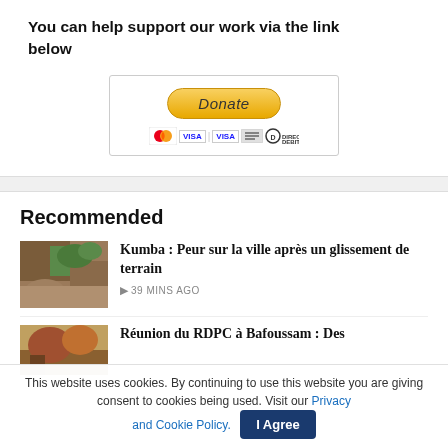You can help support our work via the link below
[Figure (other): PayPal Donate button with credit card icons (Mastercard, Visa, Visa, American Express, Direct Debit)]
Recommended
[Figure (photo): Thumbnail image of a landslide scene]
Kumba : Peur sur la ville après un glissement de terrain
39 MINS AGO
[Figure (photo): Thumbnail image for second article]
Réunion du RDPC à Bafoussam : Des
This website uses cookies. By continuing to use this website you are giving consent to cookies being used. Visit our Privacy and Cookie Policy.